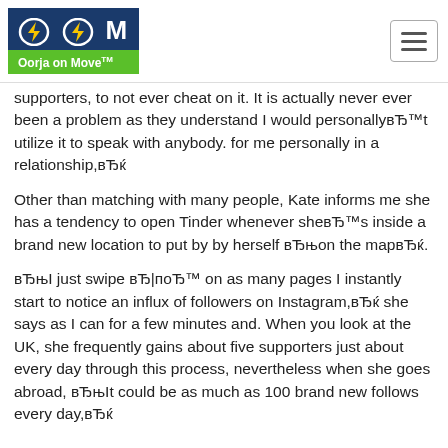Oorja on Move™ [logo with hamburger menu]
supporters, to not ever cheat on it. It is actually never ever been a problem as they understand I would personallyвЂ™t utilize it to speak with anybody. for me personally in a relationship,вЂќ
Other than matching with many people, Kate informs me she has a tendency to open Tinder whenever sheвЂ™s inside a brand new location to put by by herself вЂњon the mapвЂќ.
вЂњI just swipe вЂ|поЂ™ on as many pages I instantly start to notice an influx of followers on Instagram,вЂќ she says as I can for a few minutes and. When you look at the UK, she frequently gains about five supporters just about every day through this process, nevertheless when she goes abroad, вЂњIt could be as much as 100 brand new follows every day,вЂќ